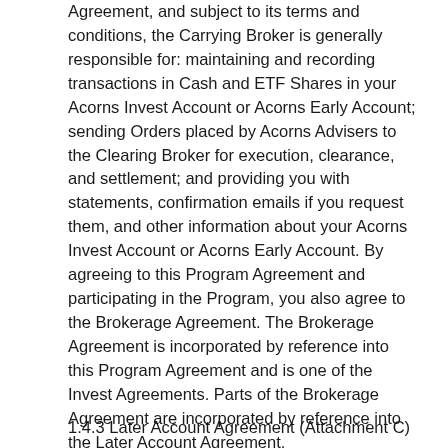Agreement, and subject to its terms and conditions, the Carrying Broker is generally responsible for: maintaining and recording transactions in Cash and ETF Shares in your Acorns Invest Account or Acorns Early Account; sending Orders placed by Acorns Advisers to the Clearing Broker for execution, clearance, and settlement; and providing you with statements, confirmation emails if you request them, and other information about your Acorns Invest Account or Acorns Early Account. By agreeing to this Program Agreement and participating in the Program, you also agree to the Brokerage Agreement. The Brokerage Agreement is incorporated by reference into this Program Agreement and is one of the Invest Agreements. Parts of the Brokerage Agreement are incorporated by reference into the Later Account Agreement.
1.4.3 Later Account Agreement (Attachment C)